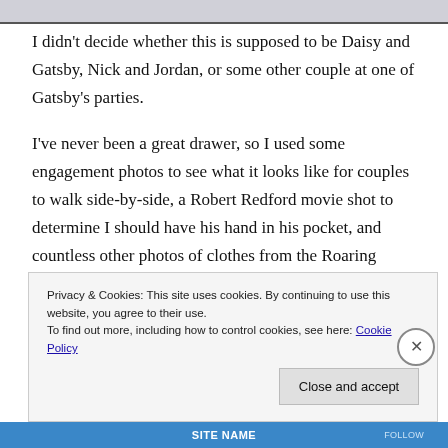[Figure (photo): Top portion of an image partially visible as a gray/dark strip at the top of the page]
I didn't decide whether this is supposed to be Daisy and Gatsby, Nick and Jordan, or some other couple at one of Gatsby's parties.
I've never been a great drawer, so I used some engagement photos to see what it looks like for couples to walk side-by-side, a Robert Redford movie shot to determine I should have his hand in his pocket, and countless other photos of clothes from the Roaring Twenties to help with the beads, feathers, and dropped
Privacy & Cookies: This site uses cookies. By continuing to use this website, you agree to their use.
To find out more, including how to control cookies, see here: Cookie Policy
Close and accept